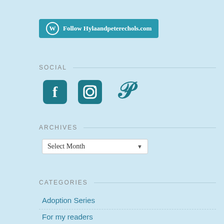[Figure (other): WordPress Follow button with text 'Follow Hylaandpeterechols.com']
SOCIAL
[Figure (other): Social media icons: Facebook, Instagram, Pinterest]
ARCHIVES
[Figure (other): Select Month dropdown menu]
CATEGORIES
Adoption Series
For my readers